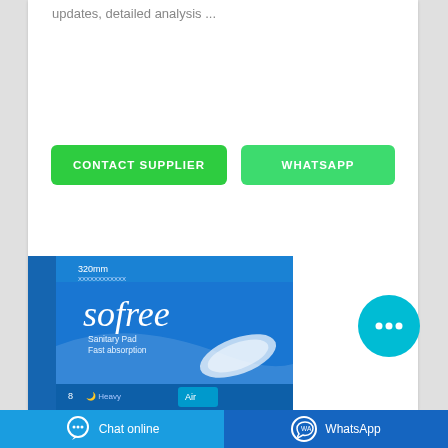updates, detailed analysis ...
[Figure (other): CONTACT SUPPLIER green button and WHATSAPP green button side by side]
[Figure (photo): Sofree Sanitary Pad Fast absorption product box, 320mm, 8 Heavy Air pads, blue packaging]
[Figure (other): Cyan circular chat bubble button with ellipsis icon]
Chat online
WhatsApp